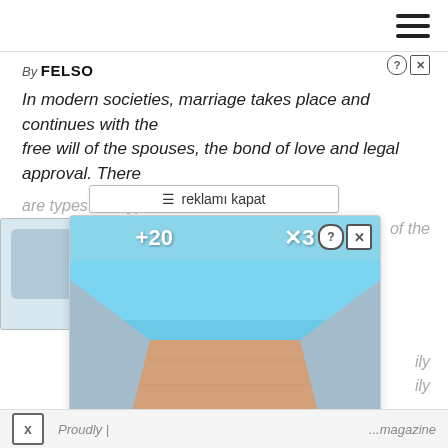Navigation bar with hamburger menu
By FELSO
In modern societies, marriage takes place and continues with the free will of the spouses, the bond of love and legal approval. There
are types and types of ...
[Figure (screenshot): Mobile game advertisement overlay showing a bowling-lane style game with '+20' and 'x3' score indicators, two cartoon characters, badge number '3', and 'Hold and Move' instruction text. Turkish 'reklamı kapat' (close ad) bar visible at top of ad.]
of the
ily
ily
Proudly |   ...magazine